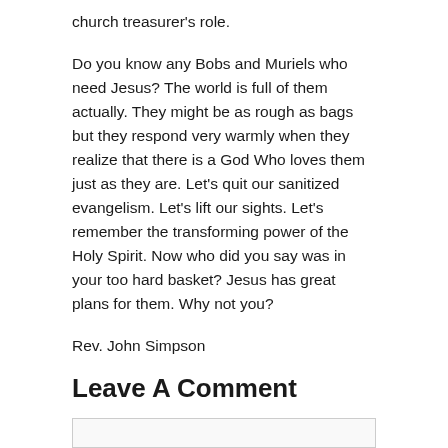church treasurer's role.
Do you know any Bobs and Muriels who need Jesus? The world is full of them actually. They might be as rough as bags but they respond very warmly when they realize that there is a God Who loves them just as they are. Let's quit our sanitized evangelism. Let's lift our sights. Let's remember the transforming power of the Holy Spirit. Now who did you say was in your too hard basket? Jesus has great plans for them. Why not you?
Rev. John Simpson
Leave A Comment